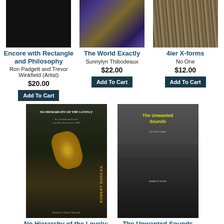[Figure (photo): Black book cover for Encore with Rectangle and Philosophy]
[Figure (photo): Marbled purple and gold book cover for The World Exactly]
[Figure (photo): Weathered wood texture book cover for 4ier X-forms]
Encore with Rectangle and Philosophy
Ron Padgett and Trevor Winkfield (Artist)
$20.00
Add To Cart
The World Exactly
Sunnylyn Thibodeaux
$22.00
Add To Cart
4ier X-forms
No One
$12.00
Add To Cart
[Figure (photo): Dark book cover showing Robert Duncan - No Hierarchy of the Lovely: Ten Uncollected Poems and other Prose since 1966]
[Figure (photo): Black and white photo book cover - The Unwanted Sounds]
No Hierarchy of the Lovely: Ten Uncollected
The Unwanted Sounds